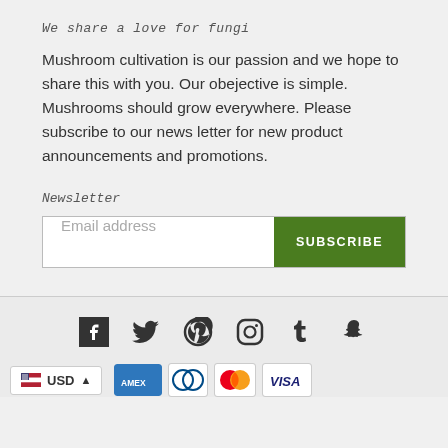We share a love for fungi
Mushroom cultivation is our passion and we hope to share this with you. Our obejective is simple. Mushrooms should grow everywhere. Please subscribe to our news letter for new product announcements and promotions.
Newsletter
[Figure (screenshot): Email subscription form with text input for email address and a green SUBSCRIBE button]
[Figure (infographic): Social media icons row: Facebook, Twitter, Pinterest, Instagram, Tumblr, Snapchat]
[Figure (infographic): Currency selector showing USD with US flag, and partial payment logos: Amex, Diners, Mastercard, Visa]